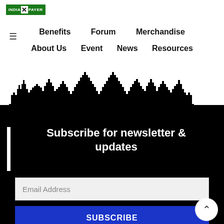[Figure (logo): India Tax Payer logo with green background and X mark]
≡  Benefits  Forum  Merchandise  About Us  Event  News  Resources
[Figure (illustration): Black city skyline silhouette against white/black background]
Subscribe for newsletter & updates
Email Address
SUBSCRIBE